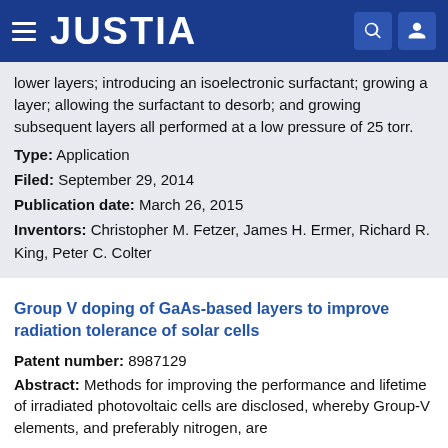JUSTIA
lower layers; introducing an isoelectronic surfactant; growing a layer; allowing the surfactant to desorb; and growing subsequent layers all performed at a low pressure of 25 torr.
Type: Application
Filed: September 29, 2014
Publication date: March 26, 2015
Inventors: Christopher M. Fetzer, James H. Ermer, Richard R. King, Peter C. Colter
Group V doping of GaAs-based layers to improve radiation tolerance of solar cells
Patent number: 8987129
Abstract: Methods for improving the performance and lifetime of irradiated photovoltaic cells are disclosed, whereby Group-V elements, and preferably nitrogen, are